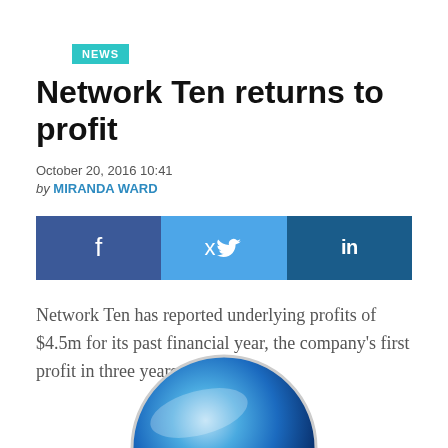NEWS
Network Ten returns to profit
October 20, 2016 10:41
by MIRANDA WARD
[Figure (infographic): Social sharing buttons: Facebook (dark blue), Twitter (light blue), LinkedIn (dark blue)]
Network Ten has reported underlying profits of $4.5m for its past financial year, the company's first profit in three years.
[Figure (logo): Partial view of a circular blue Network Ten logo at the bottom of the page]